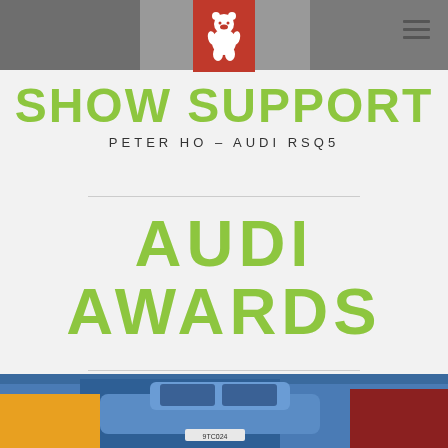[Figure (photo): Top photo strip showing a car or person, partially visible behind red logo overlay]
SHOW SUPPORT
PETER HO – AUDI RSQ5
AUDI AWARDS
[Figure (photo): Photo of blue Audi coupe rear view in a parking lot with other cars]